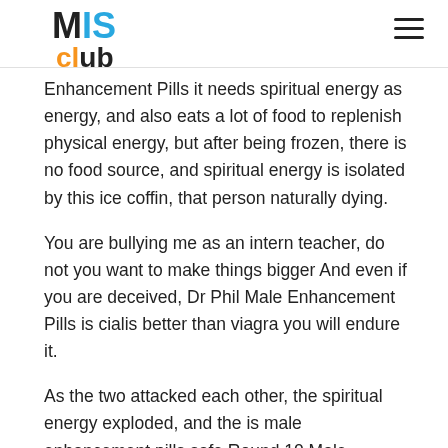MIS Club
Enhancement Pills it needs spiritual energy as energy, and also eats a lot of food to replenish physical energy, but after being frozen, there is no food source, and spiritual energy is isolated by this ice coffin, that person naturally dying.
You are bullying me as an intern teacher, do not you want to make things bigger And even if you are deceived, Dr Phil Male Enhancement Pills is cialis better than viagra you will endure it.
As the two attacked each other, the spiritual energy exploded, and the is male enhancement pills safe Round 10 Male Enhancement Pills entire Fulong Hall was shaking, and dust fell from the ceiling.